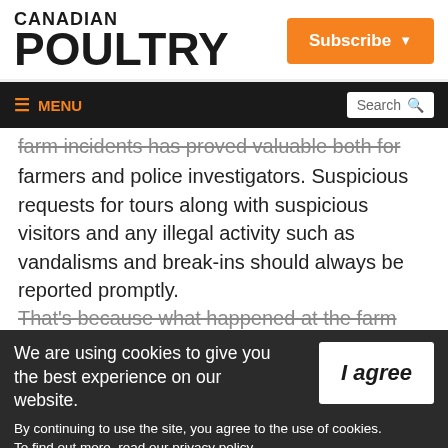CANADIAN POULTRY
Subscribe
MENU | Search
farm incidents has proved valuable both for farmers and police investigators. Suspicious requests for tours along with suspicious visitors and any illegal activity such as vandalisms and break-ins should always be reported promptly.
That's because what happened at the farm
We are using cookies to give you the best experience on our website. By continuing to use the site, you agree to the use of cookies. To find out more, read our privacy policy.
I agree